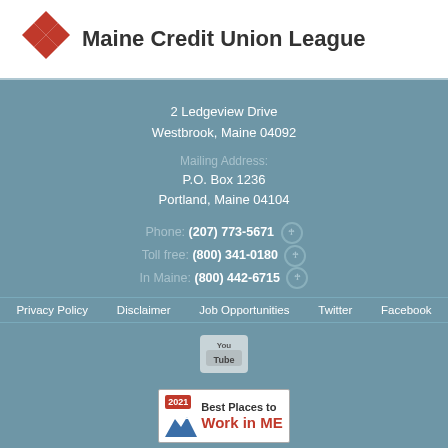Maine Credit Union League
2 Ledgeview Drive
Westbrook, Maine 04092
Mailing Address:
P.O. Box 1236
Portland, Maine 04104
Phone: (207) 773-5671
Toll free: (800) 341-0180
In Maine: (800) 442-6715
Privacy Policy   Disclaimer   Job Opportunities   Twitter   Facebook
[Figure (logo): YouTube logo button]
[Figure (logo): 2021 Best Places to Work in ME badge]